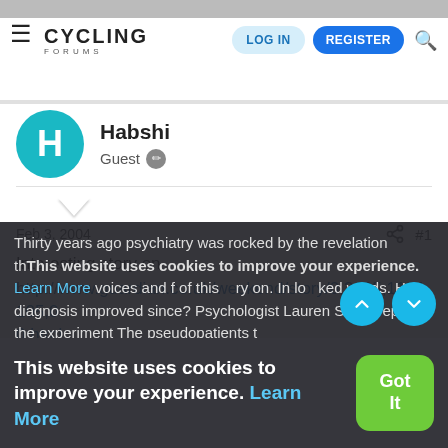Cycling Forums — LOG IN | REGISTER
Habshi
Guest
Feb 3, 2004   #1
Interesting story on http://www.guardian.co.uk/weekend/story/0,3605,1134105,00.html
excerpts
Thirty years ago psychiatry was rocked by the revelation thThis website uses cookies to improve your experience. Learn More voices and f of this ry on. In locked wards. Has diagnosis improved since? Psychologist Lauren Slater repeats the experiment The pseudopatients t...